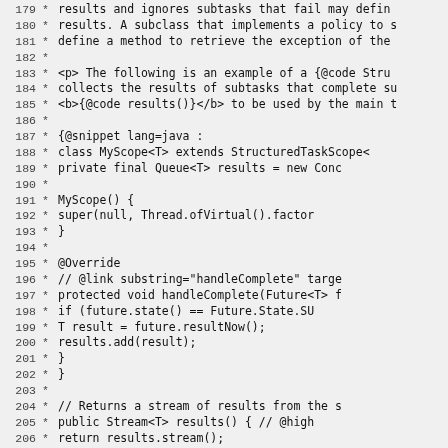Source code listing lines 179-208, Java Javadoc comment with code snippet showing MyScope class extending StructuredTaskScope